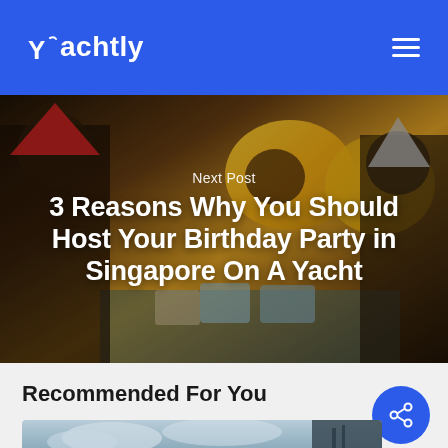Yachtly
[Figure (photo): Hero image showing two people celebrating a birthday party with gold number balloons, party hats, and food on a table, with text overlay 'Next Post' and title '3 Reasons Why You Should Host Your Birthday Party in Singapore On A Yacht']
Next Post
3 Reasons Why You Should Host Your Birthday Party in Singapore On A Yacht
Recommended For You
[Figure (photo): Partial card image showing a cloudy sky and dark structure at the bottom of the page]